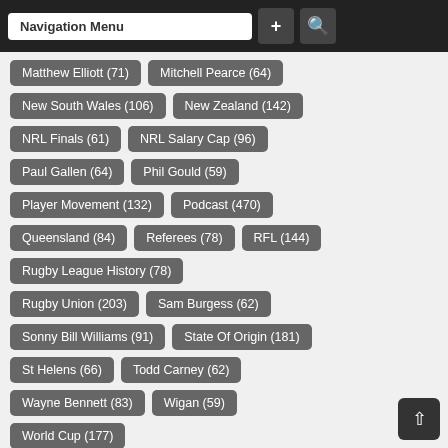Navigation Menu
Matthew Elliott (71)
Mitchell Pearce (64)
New South Wales (106)
New Zealand (142)
NRL Finals (61)
NRL Salary Cap (96)
Paul Gallen (64)
Phil Gould (59)
Player Movement (132)
Podcast (470)
Queensland (84)
Referees (78)
RFL (144)
Rugby League History (78)
Rugby Union (203)
Sam Burgess (62)
Sonny Bill Williams (91)
State Of Origin (181)
St Helens (66)
Todd Carney (62)
Wayne Bennett (83)
Wigan (59)
World Cup (177)